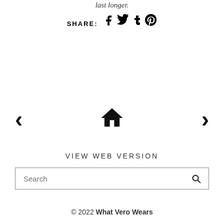last longer.
SHARE: f t t p
[Figure (other): Navigation bar with left arrow, home icon, and right arrow]
VIEW WEB VERSION
Search
© 2022 What Vero Wears